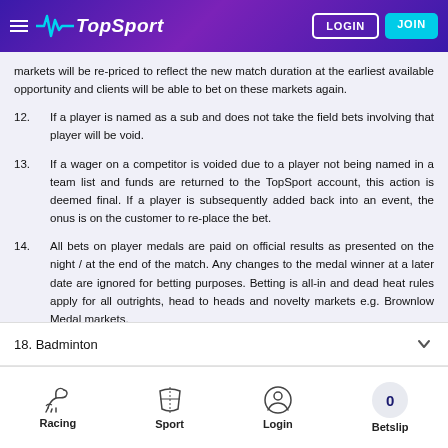TopSport — LOGIN | JOIN
markets will be re-priced to reflect the new match duration at the earliest available opportunity and clients will be able to bet on these markets again.
12. If a player is named as a sub and does not take the field bets involving that player will be void.
13. If a wager on a competitor is voided due to a player not being named in a team list and funds are returned to the TopSport account, this action is deemed final. If a player is subsequently added back into an event, the onus is on the customer to replace the bet.
14. All bets on player medals are paid on official results as presented on the night / at the end of the match. Any changes to the medal winner at a later date are ignored for betting purposes. Betting is all-in and dead heat rules apply for all outrights, head to heads and novelty markets e.g. Brownlow Medal markets.
18. Badminton
Racing  Sport  Login  Betslip 0